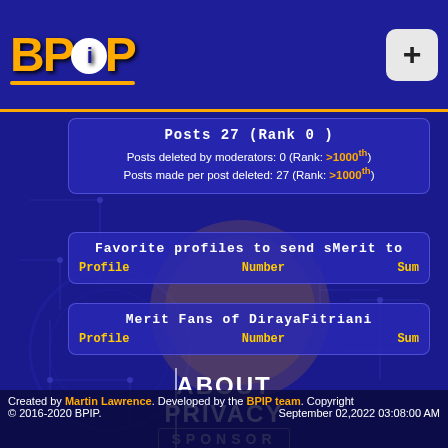[Figure (screenshot): BPIP logo with orange text BP(i)P and golden underline on dark blue background]
Posts 27 (Rank 0 )
Posts deleted by moderators: 0 (Rank: >1000th)
Posts made per post deleted: 27 (Rank: >1000th)
Favorite profiles to send sMerit to
Profile  Number  Sum
Merit Fans of DirayaFitriani
Profile  Number  Sum
ABOUT
PRIVACY
SPONSOR
SUPPORT
REPORTS
Created by Martin Lawrence. Developed by the BPIP team. Copyright © 2016-2020 BPIP.   September 02,2022 03:08:00 AM